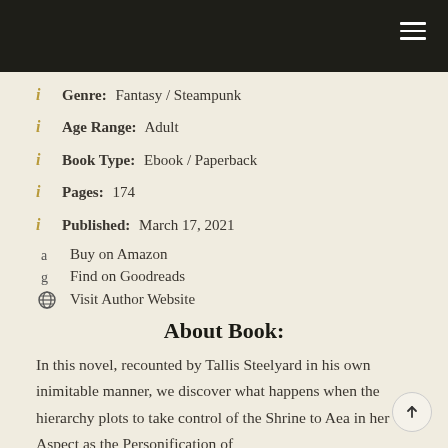Navigation bar with hamburger menu
Genre: Fantasy / Steampunk
Age Range: Adult
Book Type: Ebook / Paperback
Pages: 174
Published: March 17, 2021
Buy on Amazon
Find on Goodreads
Visit Author Website
About Book:
In this novel, recounted by Tallis Steelyard in his own inimitable manner, we discover what happens when the hierarchy plots to take control of the Shrine to Aea in her Aspect as the Personification of